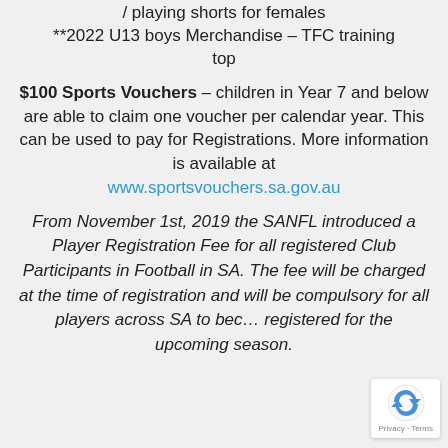/ playing shorts for females
**2022 U13 boys Merchandise – TFC training top
$100 Sports Vouchers – children in Year 7 and below are able to claim one voucher per calendar year. This can be used to pay for Registrations. More information is available at www.sportsvouchers.sa.gov.au
From November 1st, 2019 the SANFL introduced a Player Registration Fee for all registered Club Participants in Football in SA. The fee will be charged at the time of registration and will be compulsory for all players across SA to become registered for the upcoming season.